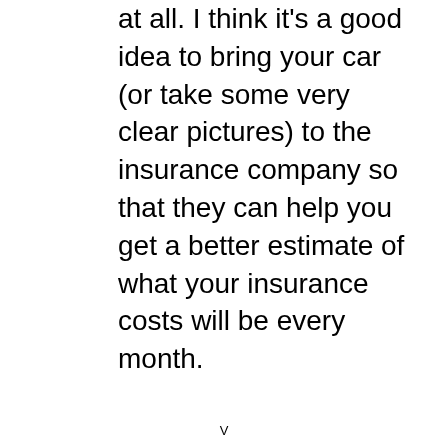at all. I think it's a good idea to bring your car (or take some very clear pictures) to the insurance company so that they can help you get a better estimate of what your insurance costs will be every month.
V